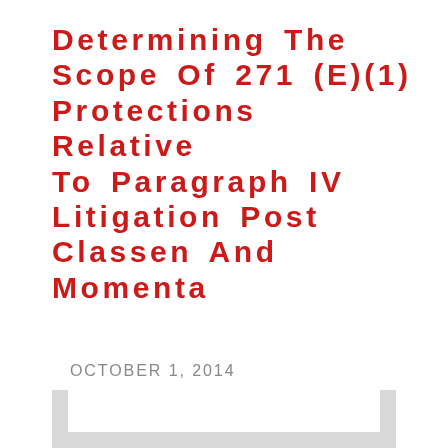Determining The Scope Of 271 (E)(1) Protections Relative To Paragraph IV Litigation Post Classen And Momenta
OCTOBER 1, 2014